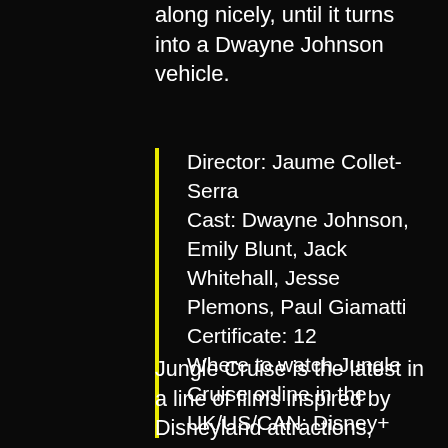along nicely, until it turns into a Dwayne Johnson vehicle.
Director: Jaume Collet-Serra
Cast: Dwayne Johnson, Emily Blunt, Jack Whitehall, Jesse Plemons, Paul Giamatti
Certificate: 12
Where to watch Jungle Cruise online in the UK/US/CAN: Disney+
Jungle Cruise is the latest in a line of films inspired by Disneyland attractions, including The Haunted Mansion, Tomorrowland and, of course, Pirates of the Caribbean. A theme-park ride may be slight source